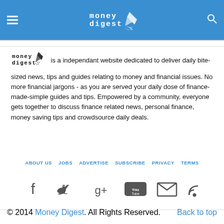money digest
money digest is a independant website dedicated to deliver daily bite-sized news, tips and guides relating to money and financial issues. No more financial jargons - as you are served your daily dose of finance-made-simple guides and tips. Empowered by a community, everyone gets together to discuss finance related news, personal finance, money saving tips and crowdsource daily deals.
ABOUT US  JOBS  ADVERTISE  SUBSCRIBE  PRIVACY  TERMS
[Figure (infographic): Social media icons row: Facebook, Twitter, Google+, YouTube, Email/Envelope, RSS feed]
© 2014 Money Digest. All Rights Reserved.   Back to top